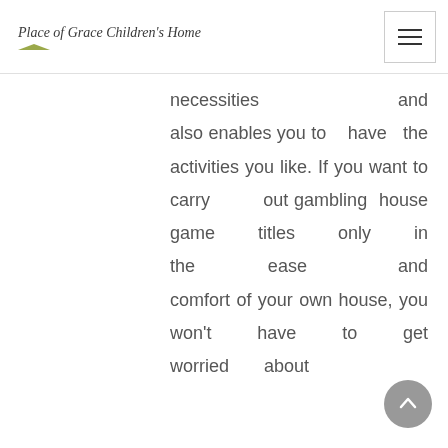Place of Grace Children's Home
necessities and also enables you to have the activities you like. If you want to carry out gambling house game titles only in the ease and comfort of your own house, you won't have to get worried about